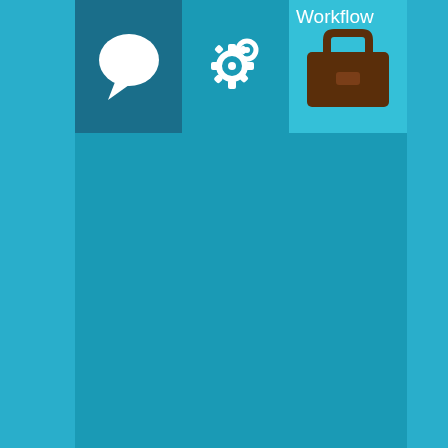[Figure (screenshot): SharePoint/Office 365 workflow UI with three icon tiles: chat bubble, settings gears, and briefcase icons. 'Workflow' text label visible top right.]
Dräger
Branding specialist
SharePoint 2013 collaboration branding: on-premises and Office 365